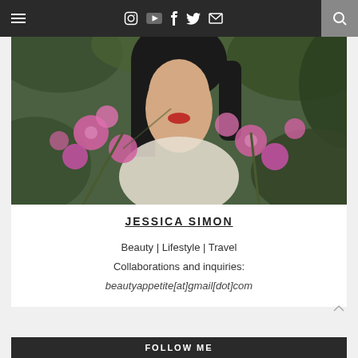≡  Instagram YouTube Facebook Twitter Email  🔍
[Figure (photo): Portrait photo of a young woman with dark hair and red lips, surrounded by pink flowers and green foliage]
JESSICA SIMON
Beauty | Lifestyle | Travel
Collaborations and inquiries:
beautyappetite[at]gmail[dot]com
FOLLOW ME